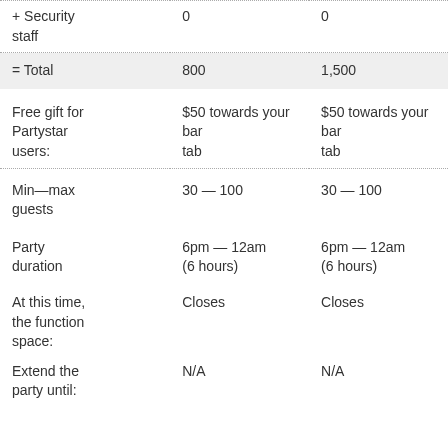| + Security staff | 0 | 0 |
| = Total | 800 | 1,500 |
| Free gift for Partystar users: | $50 towards your bar tab | $50 towards your bar tab |
| Min—max guests | 30 — 100 | 30 — 100 |
| Party duration | 6pm — 12am
(6 hours) | 6pm — 12am
(6 hours) |
| At this time, the function space: | Closes | Closes |
| Extend the party until: | N/A | N/A |